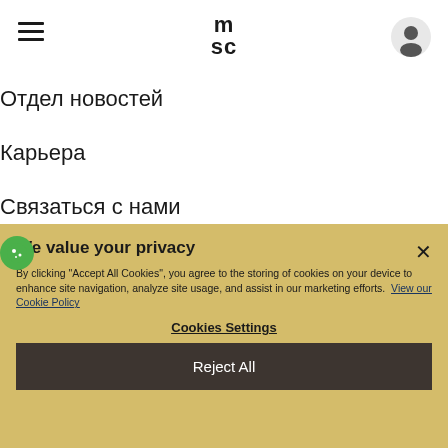msc [logo with hamburger menu and user icon]
Отдел новостей
Карьера
Связаться с нами
[Figure (infographic): Four social media icons in circles: Facebook, Twitter, Instagram, LinkedIn]
We value your privacy
By clicking "Accept All Cookies", you agree to the storing of cookies on your device to enhance site navigation, analyze site usage, and assist in our marketing efforts. View our Cookie Policy
Cookies Settings
Reject All